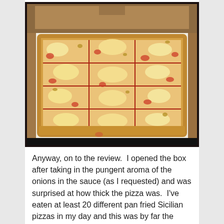[Figure (photo): A rectangular Sicilian pizza in an open cardboard delivery box. The pizza is thick with golden-brown crust visible around the edges, topped with red tomato sauce and melted mozzarella cheese. The pizza is cut into rectangular slices arranged in a 3x4 grid pattern. The box is lined with white parchment paper.]
Anyway, on to the review.  I opened the box after taking in the pungent aroma of the onions in the sauce (as I requested) and was surprised at how thick the pizza was.  I've eaten at least 20 different pan fried Sicilian pizzas in my day and this was by far the thickest crust I've ever encountered.  I have to be honest, when I think